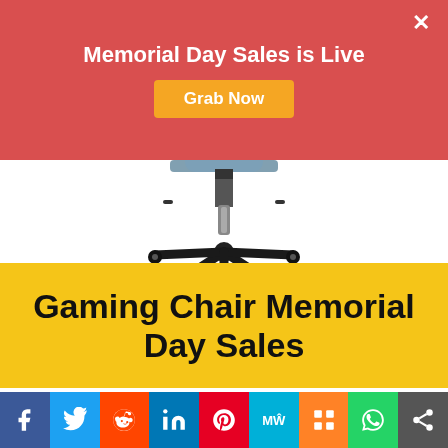[Figure (screenshot): Red promotional banner with text 'Memorial Day Sales is Live' and orange 'Grab Now' button and X close button]
[Figure (photo): Gaming/office chair base and wheels on white background, black star-base with casters]
[Figure (illustration): Yellow banner with bold black text reading 'Gaming Chair Memorial Day Sales']
30 Best Gaming Chair Labor Day Sales & Deals 2022
[Figure (infographic): Social sharing bar with icons for Facebook, Twitter, Reddit, LinkedIn, Pinterest, MeWe, Mix, WhatsApp, Share]